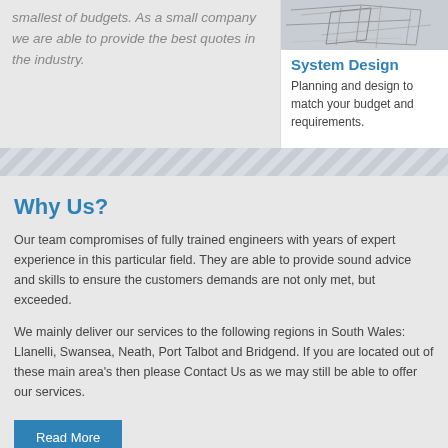smallest of budgets. As a small company we are able to provide the best quotes in the industry.
[Figure (photo): Blueprint/engineering drawing image in top right]
System Design
Planning and design to match your budget and requirements.
[Figure (other): Diagonal stripe divider pattern]
Why Us?
Our team compromises of fully trained engineers with years of expert experience in this particular field. They are able to provide sound advice and skills to ensure the customers demands are not only met, but exceeded.
We mainly deliver our services to the following regions in South Wales: Llanelli, Swansea, Neath, Port Talbot and Bridgend. If you are located out of these main area's then please Contact Us as we may still be able to offer our services.
Read More